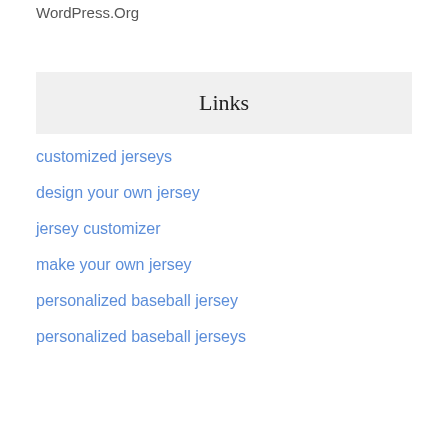WordPress.Org
Links
customized jerseys
design your own jersey
jersey customizer
make your own jersey
personalized baseball jersey
personalized baseball jerseys